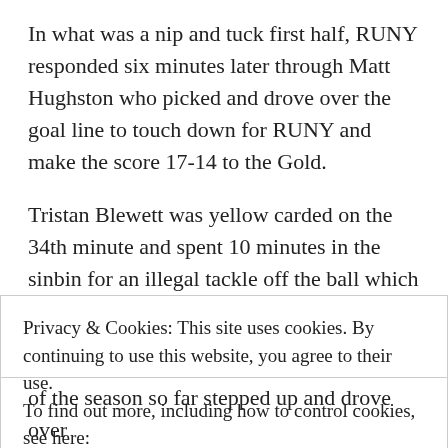In what was a nip and tuck first half, RUNY responded six minutes later through Matt Hughston who picked and drove over the goal line to touch down for RUNY and make the score 17-14 to the Gold.
Tristan Blewett was yellow carded on the 34th minute and spent 10 minutes in the sinbin for an illegal tackle off the ball which could easily have
Privacy & Cookies: This site uses cookies. By continuing to use this website, you agree to their use.
To find out more, including how to control cookies, see here:
Cookie Policy
CLOSE AND ACCEPT
of the season so far stepped up and drove over